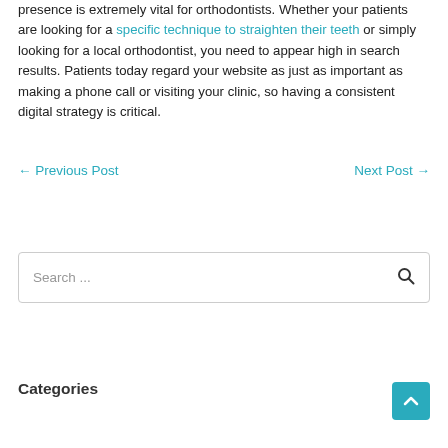presence is extremely vital for orthodontists. Whether your patients are looking for a specific technique to straighten their teeth or simply looking for a local orthodontist, you need to appear high in search results. Patients today regard your website as just as important as making a phone call or visiting your clinic, so having a consistent digital strategy is critical.
← Previous Post   Next Post →
Search ...
Categories